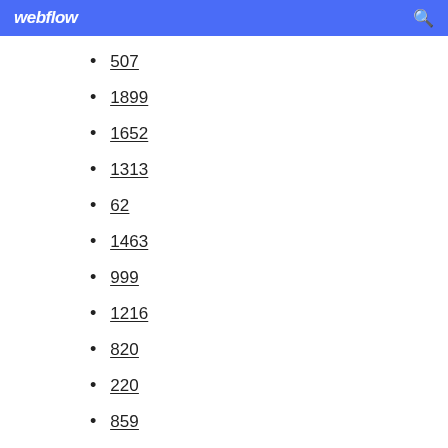webflow
507
1899
1652
1313
62
1463
999
1216
820
220
859
1933